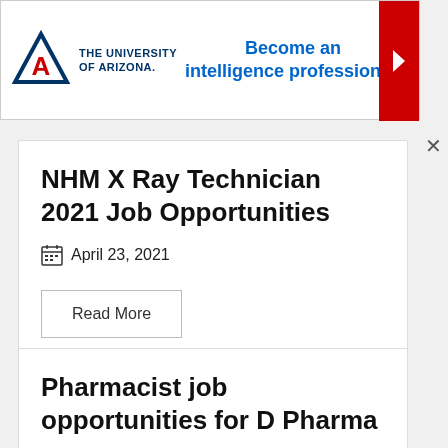[Figure (logo): University of Arizona advertisement banner with logo and tagline 'Become an intelligence professional.']
NHM X Ray Technician 2021 Job Opportunities
April 23, 2021
Read More
Pharmacist job opportunities for D Pharma
April 19, 2021